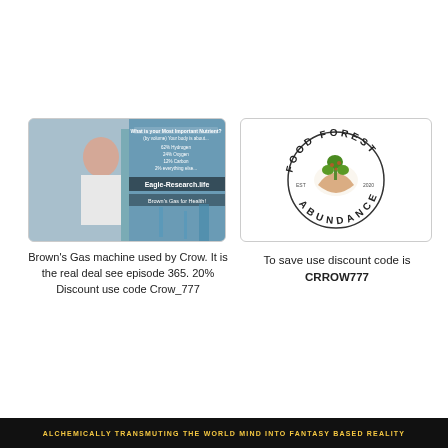[Figure (photo): Eagle-Research.life advertisement showing a man in a lab coat with text about Brown's Gas and body composition percentages]
Brown's Gas machine used by Crow. It is the real deal see episode 365. 20% Discount use code Crow_777
[Figure (logo): Food Forest Abundance circular logo with EST 2020]
To save use discount code is CRROW777
ALCHEMICALLY TRANSMUTING THE WORLD MIND INTO FANTASY BASED REALITY